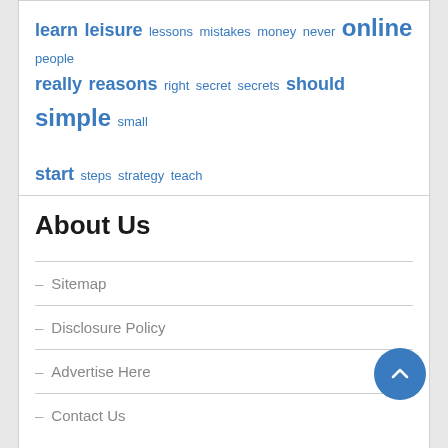[Figure (other): Word cloud with blue-colored words of varying sizes: learn, leisure, lessons, mistakes, money, never, online, people, really, reasons, right, secret, secrets, should, simple, small, start, steps, strategy, teach, technology (largest), these, things, think, travel]
About Us
– Sitemap
– Disclosure Policy
– Advertise Here
– Contact Us